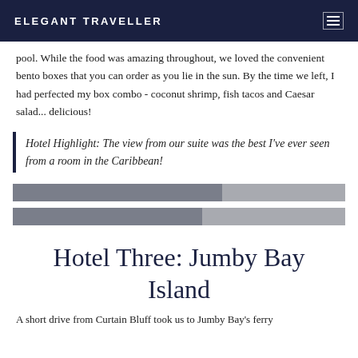ELEGANT TRAVELLER
pool. While the food was amazing throughout, we loved the convenient bento boxes that you can order as you lie in the sun. By the time we left, I had perfected my box combo - coconut shrimp, fish tacos and Caesar salad... delicious!
Hotel Highlight: The view from our suite was the best I've ever seen from a room in the Caribbean!
[Figure (infographic): Two horizontal progress/rating bars with dark and light grey segments]
Hotel Three: Jumby Bay Island
A short drive from Curtain Bluff took us to Jumby Bay's ferry